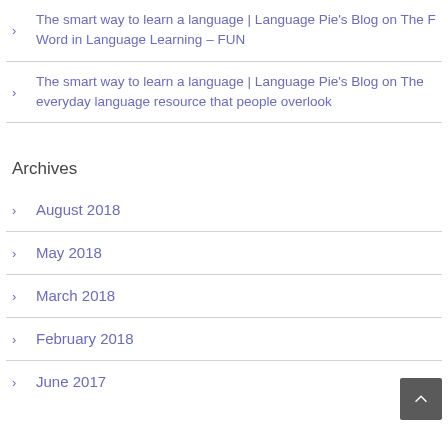The smart way to learn a language | Language Pie's Blog on The F Word in Language Learning – FUN
The smart way to learn a language | Language Pie's Blog on The everyday language resource that people overlook
Archives
August 2018
May 2018
March 2018
February 2018
June 2017